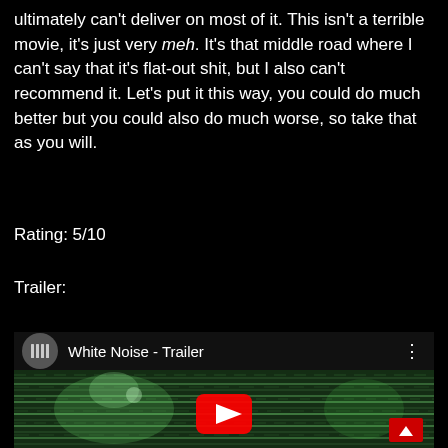ultimately can't deliver on most of it. This isn't a terrible movie, it's just very meh. It's that middle road where I can't say that it's flat-out shit, but I also can't recommend it. Let's put it this way, you could do much better but you could also do much worse, so take that as you will.
Rating: 5/10
Trailer:
[Figure (screenshot): YouTube embedded video widget showing 'White Noise - Trailer' with a green-tinted film still thumbnail and YouTube play button overlay]